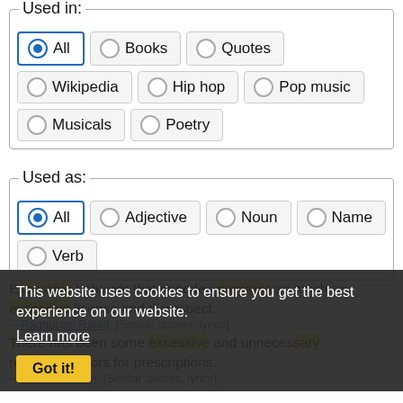Used in:
All (selected), Books, Quotes, Wikipedia, Hip hop, Pop music, Musicals, Poetry
Used as:
All (selected), Adjective, Noun, Name, Verb
Excessive behavior that impedes progress as much as excessive license and disrespect.
—Raghuram Rajan [Similar quotes, lyrics]
There has been some excessive and unnecessary resort to doctors for prescriptions.
—Clement Attlee [Similar quotes, lyrics]
[Figure (screenshot): Cookie consent overlay banner with dark background, 'This website uses cookies to ensure you get the best experience on our website.' text, Learn more link, and Got it! button]
Some of that text... excessive ...